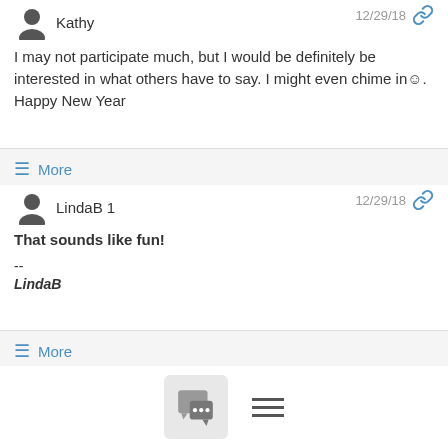Kathy — 12/29/18
I may not participate much, but I would be definitely be interested in what others have to say. I might even chime in☺. Happy New Year
≡ More
LindaB 1 — 12/29/18
That sounds like fun!
--
LindaB
≡ More
12/29/18